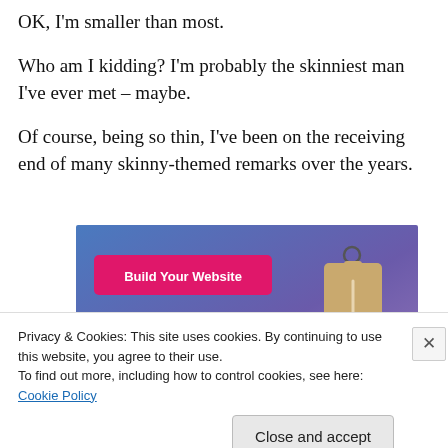OK, I'm smaller than most.
Who am I kidding? I'm probably the skinniest man I've ever met – maybe.
Of course, being so thin, I've been on the receiving end of many skinny-themed remarks over the years.
[Figure (advertisement): Ad banner with blue-to-purple gradient background. Pink button labeled 'Build Your Website' on the left. A tan price tag illustration on the right.]
Privacy & Cookies: This site uses cookies. By continuing to use this website, you agree to their use.
To find out more, including how to control cookies, see here: Cookie Policy
Close and accept